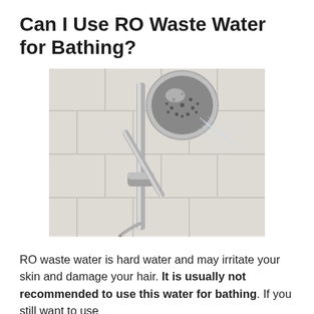Can I Use RO Waste Water for Bathing?
[Figure (photo): A chrome handheld shower head mounted on a rail against white bathroom tiles, with water spray visible]
RO waste water is hard water and may irritate your skin and damage your hair. It is usually not recommended to use this water for bathing. If you still want to use